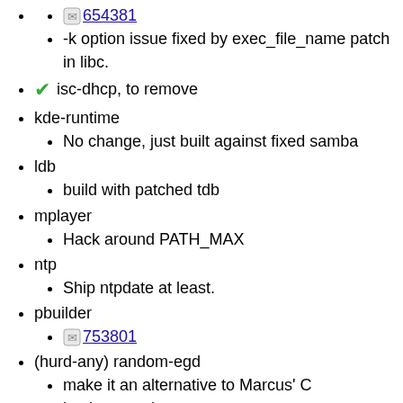654381 (link)
-k option issue fixed by exec_file_name patch in libc.
✔ isc-dhcp, to remove
kde-runtime
No change, just built against fixed samba
ldb
build with patched tdb
mplayer
Hack around PATH_MAX
ntp
Ship ntpdate at least.
pbuilder
753801 (link)
(hurd-any) random-egd
make it an alternative to Marcus' C implementation
can live without